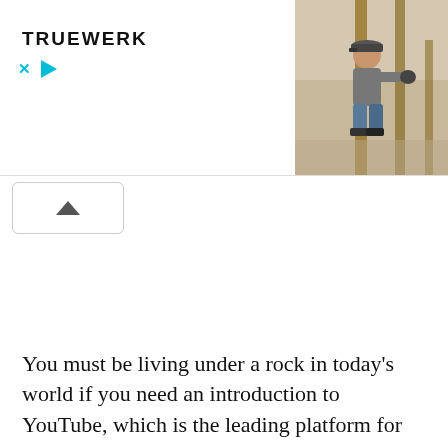[Figure (photo): Advertisement banner for TRUEWERK brand showing logo on the left, close/play controls below it, and a photo of a man crouching outdoors on the right side]
[Figure (other): Collapse button with upward chevron arrow, white background with light border]
You must be living under a rock in today's world if you need an introduction to YouTube, which is the leading platform for